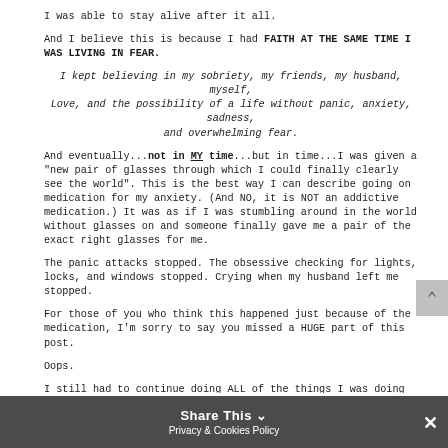I was able to stay alive after it all.
And I believe this is because I had FAITH AT THE SAME TIME I WAS LIVING IN FEAR.
I kept believing in my sobriety, my friends, my husband, myself, Love, and the possibility of a life without panic, anxiety, sadness, and overwhelming fear.
And eventually...not in MY time...but in time...I was given a "new pair of glasses through which I could finally clearly see the world". This is the best way I can describe going on medication for my anxiety. (And NO, it is NOT an addictive medication.) It was as if I was stumbling around in the world without glasses on and someone finally gave me a pair of the exact right glasses for me.
The panic attacks stopped. The obsessive checking for lights, locks, and windows stopped. Crying when my husband left me stopped.
For those of you who think this happened just because of the medication, I'm sorry to say you missed a HUGE part of this post.
Oops.
I still had to continue doing ALL of the things I was doing before I started the medication in order for the medication to work!!
To recap: In order for me... I had to
Share This  Privacy & Cookies Policy  ×